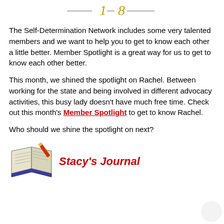[Figure (illustration): Decorative top header image with ornamental dashes and a number — partial view of a page header ornament]
The Self-Determination Network includes some very talented members and we want to help you to get to know each other a little better. Member Spotlight is a great way for us to get to know each other better.
This month, we shined the spotlight on Rachel. Between working for the state and being involved in different advocacy activities, this busy lady doesn't have much free time. Check out this month's Member Spotlight to get to know Rachel.
Who should we shine the spotlight on next?
[Figure (illustration): Clip-art style illustration of an open book with a red pen/pencil writing in it]
Stacy's Journal